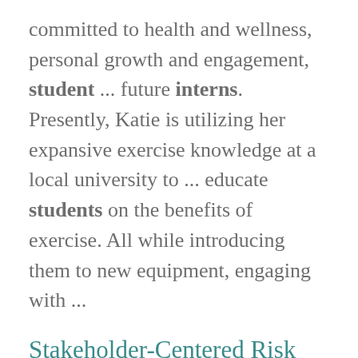committed to health and wellness, personal growth and engagement, student ... future interns.  Presently, Katie is utilizing her expansive exercise knowledge at a local university to ... educate students on the benefits of exercise. All while introducing them to new equipment, engaging with ...
Stakeholder-Centered Risk Ranking Workshop Builds Consensus and Sets Priorities for Food Safety Research in Kenyan P...